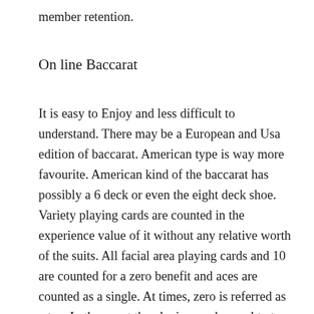member retention.
On line Baccarat
It is easy to Enjoy and less difficult to understand. There may be a European and Usa edition of baccarat. American type is way more favourite. American kind of the baccarat has possibly a 6 deck or even the eight deck shoe. Variety playing cards are counted in the experience value of it without any relative worth of the suits. All facial area playing cards and 10 are counted for a zero benefit and aces are counted as a single. At times, zero is referred as a ten. In the event the playing cards equal to ten or more in that circumstance only the right facet of the number is considered as the overall